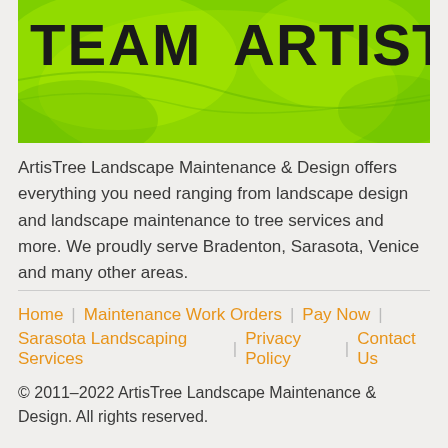[Figure (photo): Green high-visibility vest with bold black text reading 'TEAM ARTISTREE']
ArtisTree Landscape Maintenance & Design offers everything you need ranging from landscape design and landscape maintenance to tree services and more. We proudly serve Bradenton, Sarasota, Venice and many other areas.
Home | Maintenance Work Orders | Pay Now | Sarasota Landscaping Services | Privacy Policy | Contact Us
© 2011–2022 ArtisTree Landscape Maintenance & Design. All rights reserved.